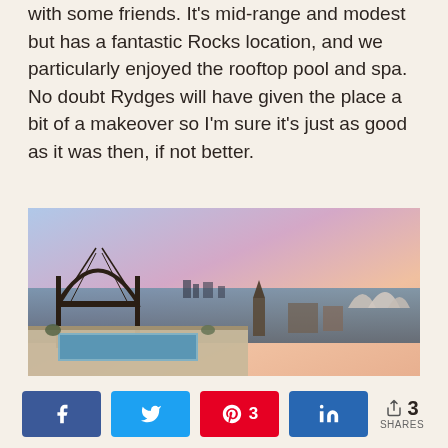with some friends. It's mid-range and modest but has a fantastic Rocks location, and we particularly enjoyed the rooftop pool and spa. No doubt Rydges will have given the place a bit of a makeover so I'm sure it's just as good as it was then, if not better.
[Figure (photo): Aerial rooftop view showing a pool terrace with Sydney Harbour Bridge on the left, Sydney Opera House on the right, and a pink/purple sunset sky over the harbour.]